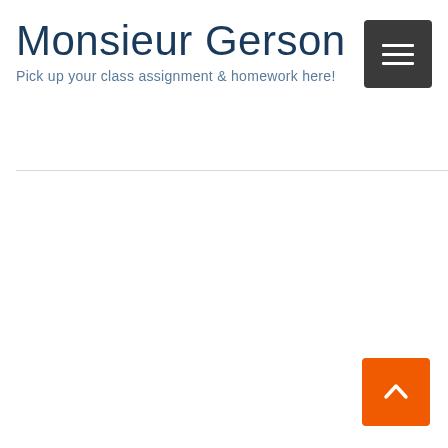Monsieur Gerson
Pick up your class assignment & homework here!
[Figure (other): Dark grey hamburger menu button with three horizontal white lines]
[Figure (other): Orange back-to-top button with white upward chevron arrow]